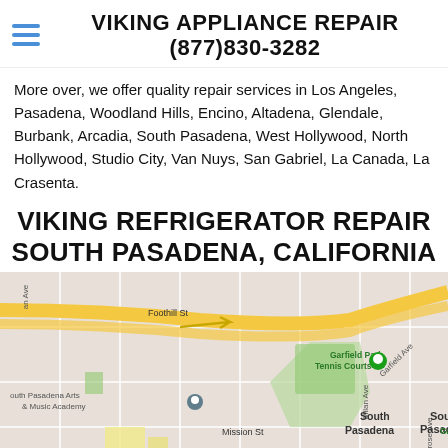VIKING APPLIANCE REPAIR (877)830-3282
More over, we offer quality repair services in Los Angeles, Pasadena, Woodland Hills, Encino, Altadena, Glendale, Burbank, Arcadia, South Pasadena, West Hollywood, North Hollywood, Studio City, Van Nuys, San Gabriel, La Canada, La Crasenta.
VIKING REFRIGERATOR REPAIR SOUTH PASADENA, CALIFORNIA
[Figure (map): Google Maps view of South Pasadena, California showing Garfield Park Tennis Courts, South Pasadena Arts & Music Academy, Garfield Park, Mosaic South Pasadena at the Rialto Theatre, and surrounding streets including Foothill St, Mission St, Mound Ave, Milan Ave, Garfield Ave, Montrose Ave.]